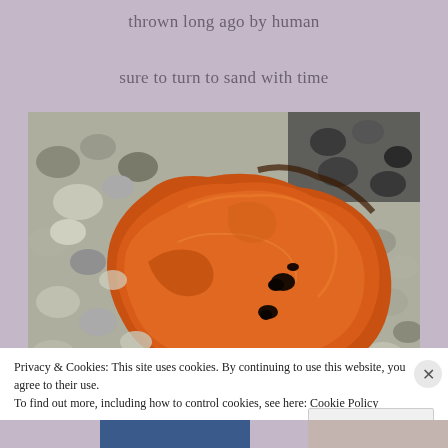thrown long ago by human
sure to turn to sand with time
[Figure (photo): A heavily rusted piece of metal or iron lying on a bed of small rounded pebbles and stones. The object is bright orange-red from rust with dark corroded holes through it. The pebbles are various shades of grey, white, and black.]
Privacy & Cookies: This site uses cookies. By continuing to use this website, you agree to their use.
To find out more, including how to control cookies, see here: Cookie Policy
Close and accept